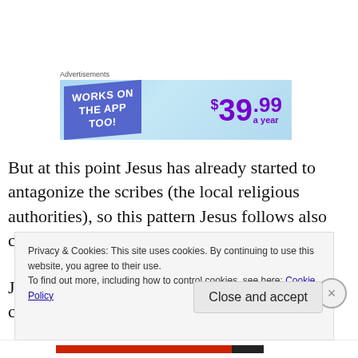[Figure (other): Advertisement banner: 'WORKS ON THE APP TOO!' on left in blue/purple, '$39.99 a year' price on right in purple, light blue gradient background]
But at this point Jesus has already started to antagonize the scribes (the local religious authorities), so this pattern Jesus follows also counts as guerrilla tactics.
Jesus often skips town in such secrecy that his closest
Privacy & Cookies: This site uses cookies. By continuing to use this website, you agree to their use.
To find out more, including how to control cookies, see here: Cookie Policy
Close and accept